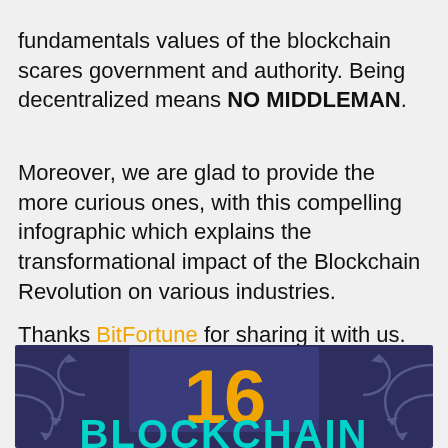fundamentals values of the blockchain scares government and authority. Being decentralized means NO MIDDLEMAN.
Moreover, we are glad to provide the more curious ones, with this compelling infographic which explains the transformational impact of the Blockchain Revolution on various industries.
Thanks BitFortune for sharing it with us.
[Figure (infographic): Blockchain infographic preview showing the number 16 in large orange text on a dark navy/purple background with decorative curved arrow lines on the sides, and the word BLOCKCHAIN in large teal letters at the bottom.]